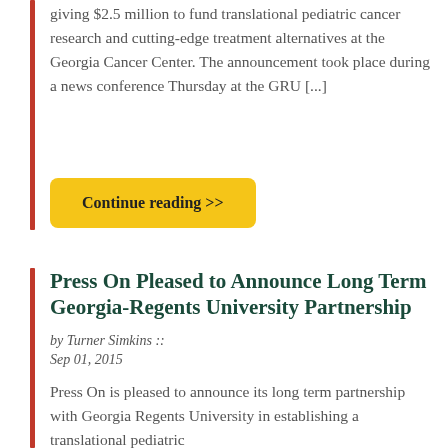giving $2.5 million to fund translational pediatric cancer research and cutting-edge treatment alternatives at the Georgia Cancer Center. The announcement took place during a news conference Thursday at the GRU [...]
Continue reading >>
Press On Pleased to Announce Long Term Georgia-Regents University Partnership
by Turner Simkins :: Sep 01, 2015
Press On is pleased to announce its long term partnership with Georgia Regents University in establishing a translational pediatric